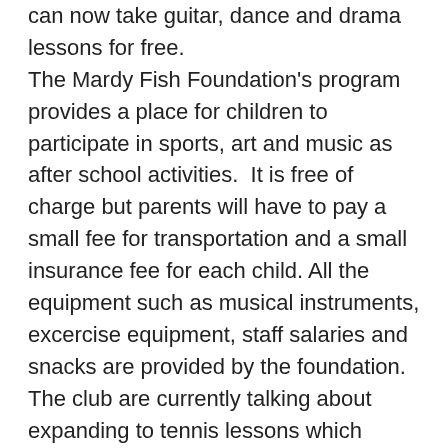can now take guitar, dance and drama lessons for free.
The Mardy Fish Foundation's program provides a place for children to participate in sports, art and music as after school activities.  It is free of charge but parents will have to pay a small fee for transportation and a small insurance fee for each child. All the equipment such as musical instruments, excercise equipment, staff salaries and snacks are provided by the foundation.
The club are currently talking about expanding to tennis lessons which should start in January.
ATP Tour has trouble attracting sponsors
Six tennis tournaments on the ATP Tour have trouble finding sponsors for their events. The six events make up for 10% of the total of tournaments on the tour.
The...